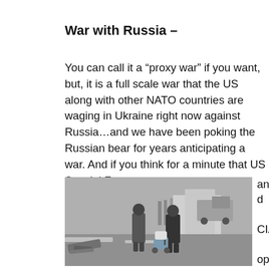War with Russia –
You can call it a “proxy war” if you want, but, it is a full scale war that the US along with other NATO countries are waging in Ukraine right now against Russia…and we have been poking the Russian bear for years anticipating a war. And if you think for a minute that US Special Forces and CIA operatives are
[Figure (photo): Black and white photo of two people walking through a war-damaged street carrying bags, with destroyed military equipment in the foreground and a truck in the background.]